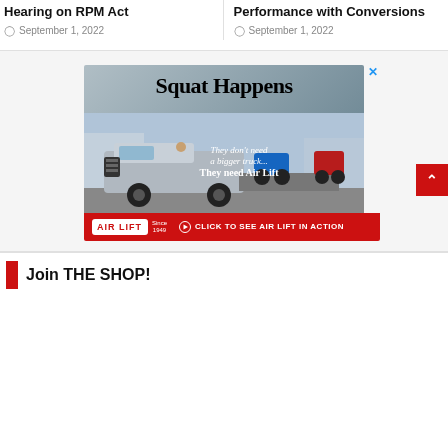Hearing on RPM Act
September 1, 2022
Performance with Conversions
September 1, 2022
[Figure (illustration): Air Lift advertisement showing a silver Ram truck towing ATVs with text 'Squat Happens', 'They don't need a bigger truck... They need Air Lift', Air Lift logo, and 'CLICK TO SEE AIR LIFT IN ACTION' CTA button on red bar]
Join THE SHOP!